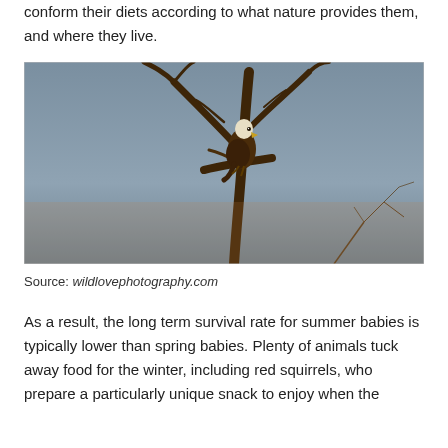conform their diets according to what nature provides them, and where they live.
[Figure (photo): A bald eagle perched on a bare, branching tree against a grey-blue sky. Photo credit: wildlovephotography.com]
Source: wildlovephotography.com
As a result, the long term survival rate for summer babies is typically lower than spring babies. Plenty of animals tuck away food for the winter, including red squirrels, who prepare a particularly unique snack to enjoy when the